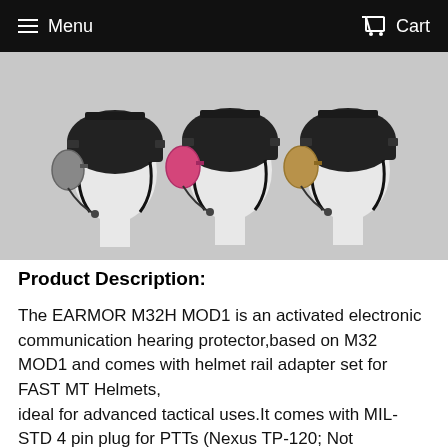Menu  Cart
[Figure (photo): Three mannequin heads wearing black tactical FAST MT helmets with ear protection attachments in three colors: grey (left), pink (center), and tan/coyote (right), on a light grey background.]
Product Description:
The EARMOR M32H MOD1 is an activated electronic communication hearing protector,based on M32 MOD1 and comes with helmet rail adapter set for FAST MT Helmets, ideal for advanced tactical uses.It comes with MIL-STD 4 pin plug for PTTs (Nexus TP-120; Not compatible with Bone PTTs.)